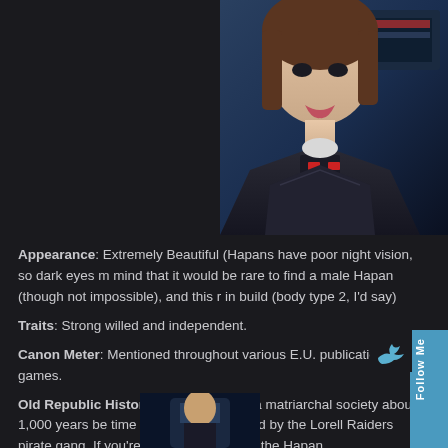[Figure (illustration): Partial view of a female character in dark sci-fi armor with red accents, brown hair, set against a blue sci-fi background. Lower portion of face and upper torso visible.]
Appearance: Extremely Beautiful (Hapans have poor night vision, so dark eyes m mind that it would be rare to find a male Hapan (though not impossible), and this r in build (body type 2, I'd say)
Traits: Strong willed and independent.
Canon Meter: Mentioned throughout various E.U. publications and games.
Old Republic History: Hapan became a matriarchal society about 1,000 years be time they were dominated by the Lorell Raiders pirate gang. If you're looki a consider the Hapan.
ARKANIAN
Homeworld: Arkania